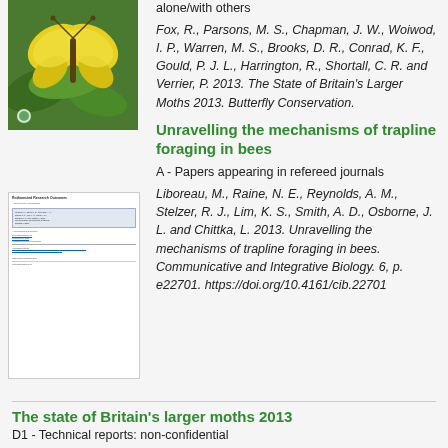[Figure (photo): Thumbnail image of a yellow butterfly/moth on green leaves]
alone/with others
Fox, R., Parsons, M. S., Chapman, J. W., Woiwod, I. P., Warren, M. S., Brooks, D. R., Conrad, K. F., Gould, P. J. L., Harrington, R., Shortall, C. R. and Verrier, P. 2013. The State of Britain's Larger Moths 2013. Butterfly Conservation.
[Figure (screenshot): Thumbnail screenshot of a document/report page]
Unravelling the mechanisms of trapline foraging in bees
A - Papers appearing in refereed journals
Liboreau, M., Raine, N. E., Reynolds, A. M., Stelzer, R. J., Lim, K. S., Smith, A. D., Osborne, J. L. and Chittka, L. 2013. Unravelling the mechanisms of trapline foraging in bees. Communicative and Integrative Biology. 6, p. e22701. https://doi.org/10.4161/cib.22701
The state of Britain's larger moths 2013
D1 - Technical reports: non-confidential